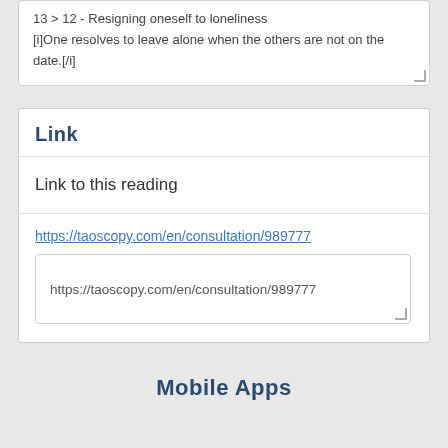13 > 12 - Resigning oneself to loneliness
[i]One resolves to leave alone when the others are not on the date.[/i]
Link
Link to this reading
https://taoscopy.com/en/consultation/989777
https://taoscopy.com/en/consultation/989777
Mobile Apps